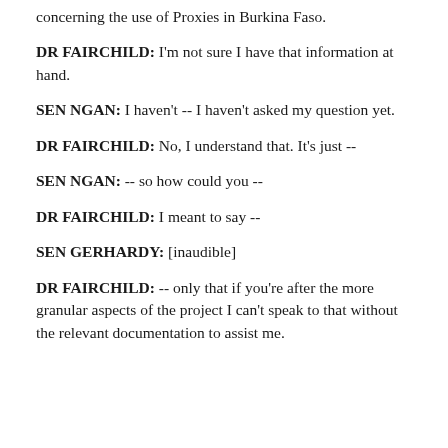concerning the use of Proxies in Burkina Faso.
DR FAIRCHILD: I'm not sure I have that information at hand.
SEN NGAN: I haven't -- I haven't asked my question yet.
DR FAIRCHILD: No, I understand that. It's just --
SEN NGAN: -- so how could you --
DR FAIRCHILD: I meant to say --
SEN GERHARDY: [inaudible]
DR FAIRCHILD: -- only that if you're after the more granular aspects of the project I can't speak to that without the relevant documentation to assist me.